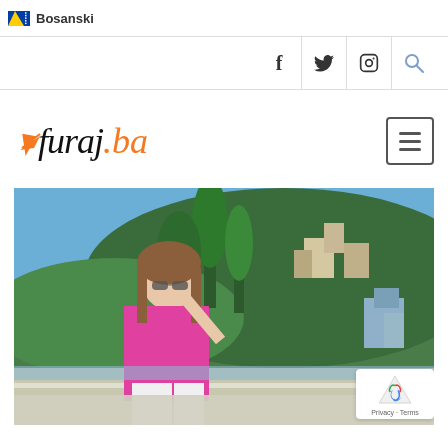Bosanski
[Figure (logo): Furaj.ba travel website logo with paper plane icon, social media icons (Facebook, Twitter, Instagram, search) in navigation bar, and hamburger menu button]
[Figure (photo): A woman in a bright pink top and white pants, wearing sunglasses, posing outdoors with a hillside town and green trees in the background under a blue sky]